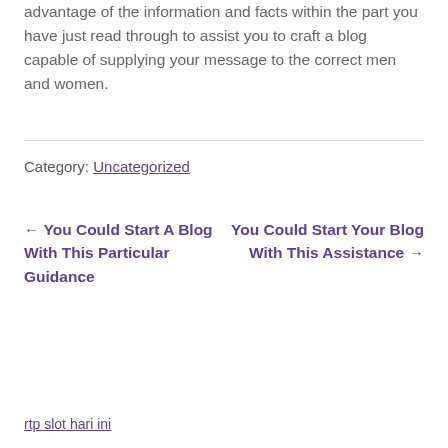advantage of the information and facts within the part you have just read through to assist you to craft a blog capable of supplying your message to the correct men and women.
Category: Uncategorized
← You Could Start A Blog With This Particular Guidance
You Could Start Your Blog With This Assistance →
rtp slot hari ini